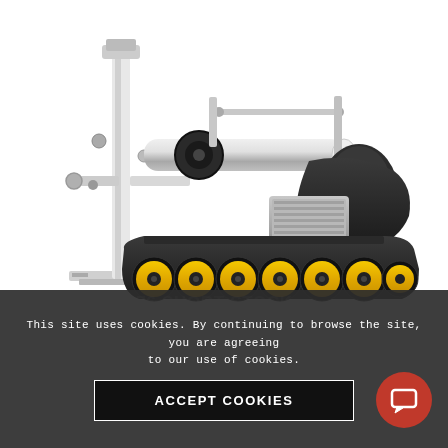[Figure (photo): CANTEK DC76 Short Stock Variable Speed Power Feeder industrial machine — a pipe-bending or feeding machine with white vertical support column, horizontal roller assembly with silver cylinder, and a black track/crawler unit with yellow rubber wheels at the bottom, plus an electric motor.]
This site uses cookies. By continuing to browse the site, you are agreeing to our use of cookies.
CANTEK DC76 Short Stock Variable Speed Power Feeder
ACCEPT COOKIES